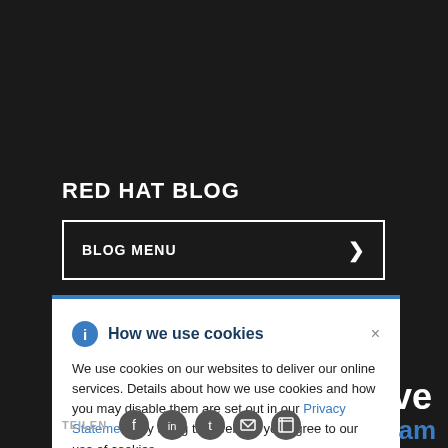RED HAT BLOG
BLOG MENU
How we use cookies
We use cookies on our websites to deliver our online services. Details about how we use cookies and how you may disable them are set out in our Privacy Statement. By using this website you agree to our use of cookies.
TEILEN